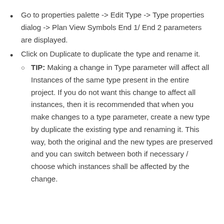Go to properties palette -> Edit Type -> Type properties dialog -> Plan View Symbols End 1/ End 2 parameters are displayed.
Click on Duplicate to duplicate the type and rename it.
TIP: Making a change in Type parameter will affect all Instances of the same type present in the entire project. If you do not want this change to affect all instances, then it is recommended that when you make changes to a type parameter, create a new type by duplicate the existing type and renaming it. This way, both the original and the new types are preserved and you can switch between both if necessary / choose which instances shall be affected by the change.